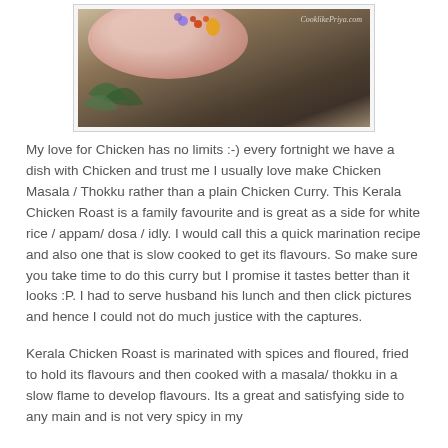[Figure (photo): Close-up photo of a pink decorative plate with floral patterns on a textured surface, with watermark text 'CooklikePriya.com' in top right]
My love for Chicken has no limits :-) every fortnight we have a dish with Chicken and trust me I usually love make Chicken Masala / Thokku rather than a plain Chicken Curry. This Kerala Chicken Roast is a family favourite and is great as a side for white rice / appam/ dosa / idly. I would call this a quick marination recipe and also one that is slow cooked to get its flavours. So make sure you take time to do this curry but I promise it tastes better than it looks :P. I had to serve husband his lunch and then click pictures and hence I could not do much justice with the captures.
Kerala Chicken Roast is marinated with spices and floured, fried to hold its flavours and then cooked with a masala/ thokku in a slow flame to develop flavours. Its a great and satisfying side to any main and is not very spicy in my